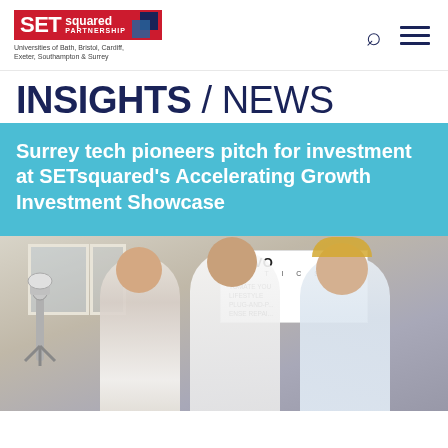[Figure (logo): SETsquared Partnership logo with red background, blue square icon, text 'Universities of Bath, Bristol, Cardiff, Exeter, Southampton & Surrey']
INSIGHTS / NEWS
Surrey tech pioneers pitch for investment at SETsquared's Accelerating Growth Investment Showcase
[Figure (photo): Three people posing at an event in front of an iNOVO Robotics banner. A robotic arm is visible on the left. The setting appears to be a formal venue.]